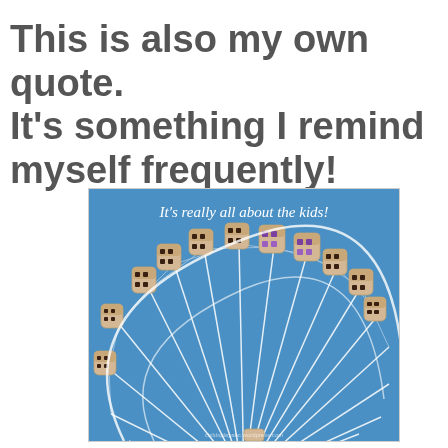This is also my own quote. It's something I remind myself frequently!
[Figure (photo): Photo of a large Ferris wheel with decorated gondola cars against a blue sky, overlaid with the text 'It's really all about the kids!' in cursive white script at the top.]